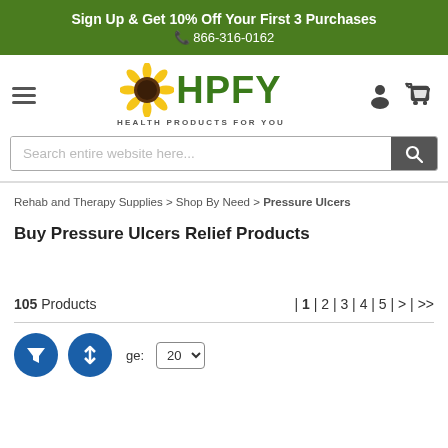Sign Up & Get 10% Off Your First 3 Purchases
📞 866-316-0162
[Figure (logo): HPFY Health Products For You logo with sunflower icon]
Search entire website here...
Rehab and Therapy Supplies > Shop By Need > Pressure Ulcers
Buy Pressure Ulcers Relief Products
105 Products | 1 | 2 | 3 | 4 | 5 | > | >>
per page: 20